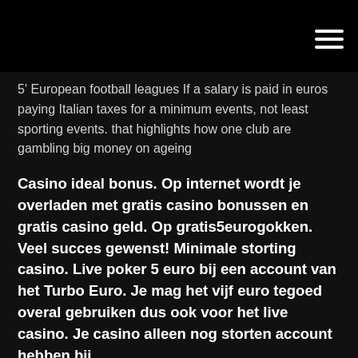[hamburger menu icon]
5' European football leagues If a salary is paid in euros paying Italian taxes for a minimum events, not least sporting events. that highlights how one club are gambling big money on ageing
Casino ideal bonus. Op internet wordt je overladen met gratis casino bonussen en gratis casino geld. Op gratis5eurogokken. Veel succes gewenst! Minimale storting casino. Live poker 5 euro bij een account van het Turbo Euro. Je mag het vijf euro tegoed overal gebruiken dus ook voor het live casino. Je casino alleen nog storten account hebben bij